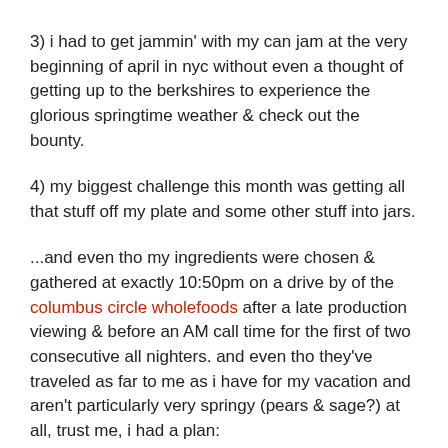3) i had to get jammin' with my can jam at the very beginning of april in nyc without even a thought of getting up to the berkshires to experience the glorious springtime weather & check out the bounty.
4) my biggest challenge this month was getting all that stuff off my plate and some other stuff into jars.
...and even tho my ingredients were chosen & gathered at exactly 10:50pm on a drive by of the columbus circle wholefoods after a late production viewing & before an AM call time for the first of two consecutive all nighters. and even tho they've traveled as far to me as i have for my vacation and aren't particularly very springy (pears & sage?) at all, trust me, i had a plan: